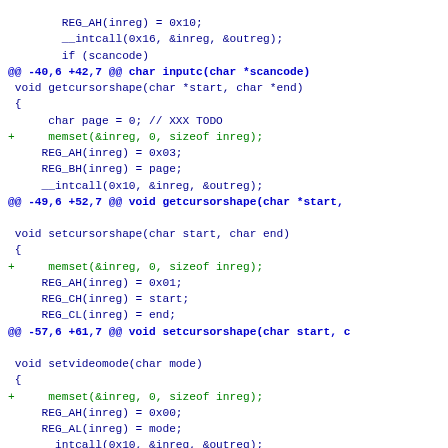Code diff showing modifications to BIOS-related C functions including getcursorshape, setcursorshape, and setvideomode, adding memset initialization calls.